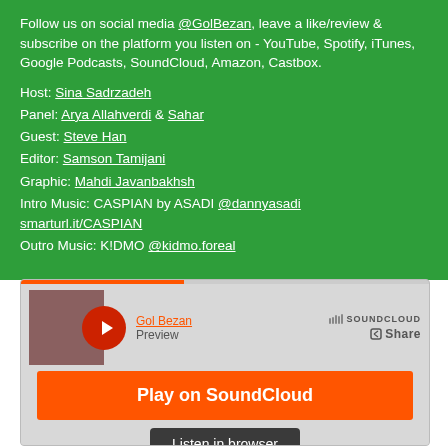Follow us on social media @GolBezan, leave a like/review & subscribe on the platform you listen on - YouTube, Spotify, iTunes, Google Podcasts, SoundCloud, Amazon, Castbox.
Host: Sina Sadrzadeh
Panel: Arya Allahverdi & Sahar
Guest: Steve Han
Editor: Samson Tamijani
Graphic: Mahdi Javanbakhsh
Intro Music: CASPIAN by ASADI @dannyasadi smarturl.it/CASPIAN
Outro Music: K!DMO @kidmo.foreal
[Figure (screenshot): SoundCloud embedded player widget showing 'Gol Bezan' with a play button, 'Play on SoundCloud' orange banner, 'Listen in browser' button, Privacy policy link, and 560 plays count.]